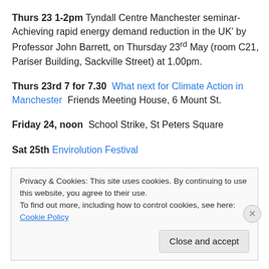Thurs 23 1-2pm Tyndall Centre Manchester seminar- Achieving rapid energy demand reduction in the UK' by Professor John Barrett, on Thursday 23rd May (room C21, Pariser Building, Sackville Street) at 1.00pm.
Thurs 23rd 7 for 7.30 What next for Climate Action in Manchester Friends Meeting House, 6 Mount St.
Friday 24, noon School Strike, St Peters Square
Sat 25th Envirolution Festival
(partial line cut off)
Privacy & Cookies: This site uses cookies. By continuing to use this website, you agree to their use. To find out more, including how to control cookies, see here: Cookie Policy